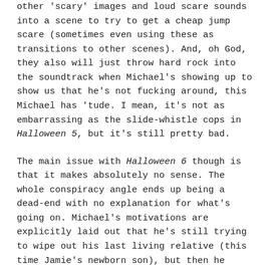other 'scary' images and loud scare sounds into a scene to try to get a cheap jump scare (sometimes even using these as transitions to other scenes). And, oh God, they also will just throw hard rock into the soundtrack when Michael's showing up to show us that he's not fucking around, this Michael has 'tude. I mean, it's not as embarrassing as the slide-whistle cops in Halloween 5, but it's still pretty bad.
The main issue with Halloween 6 though is that it makes absolutely no sense. The whole conspiracy angle ends up being a dead-end with no explanation for what's going on. Michael's motivations are explicitly laid out that he's still trying to wipe out his last living relative (this time Jamie's newborn son), but then he spends most of the film going after the Strodes who have moved into his old house and